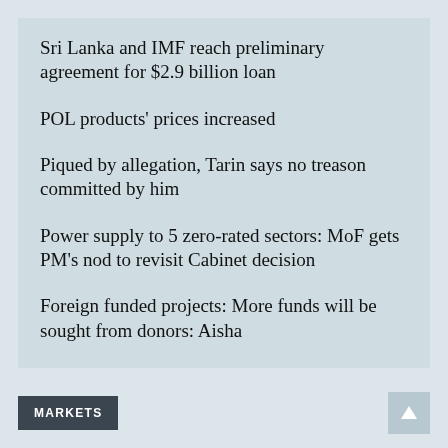Sri Lanka and IMF reach preliminary agreement for $2.9 billion loan
POL products' prices increased
Piqued by allegation, Tarin says no treason committed by him
Power supply to 5 zero-rated sectors: MoF gets PM's nod to revisit Cabinet decision
Foreign funded projects: More funds will be sought from donors: Aisha
Imran Khan given another chance to file reply
READ MORE STORIES
MARKETS